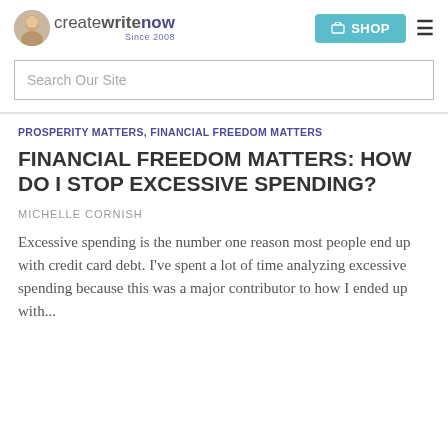createwritenow Since 2008 | SHOP
Search Our Site
PROSPERITY MATTERS, FINANCIAL FREEDOM MATTERS
FINANCIAL FREEDOM MATTERS: HOW DO I STOP EXCESSIVE SPENDING?
MICHELLE CORNISH
Excessive spending is the number one reason most people end up with credit card debt. I've spent a lot of time analyzing excessive spending because this was a major contributor to how I ended up with...